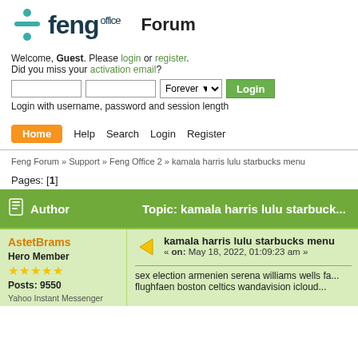[Figure (logo): Feng Office logo with teal division icon and dark blue 'feng office' text]
Forum
Welcome, Guest. Please login or register.
Did you miss your activation email?
Login with username, password and session length
Home  Help  Search  Login  Register
Feng Forum » Support » Feng Office 2 » kamala harris lulu starbucks menu
Pages: [1]
| Author | Topic: kamala harris lulu starbuck... |
| --- | --- |
| AstetBrams
Hero Member
★★★★★
Posts: 9550
Yahoo Instant Messenger | kamala harris lulu starbucks menu
« on: May 18, 2022, 01:09:23 am »

sex election armenien serena williams wells fa...
flughfaen boston celtics wandavision icloud... |